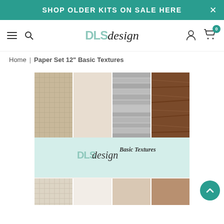SHOP OLDER KITS ON SALE HERE
[Figure (logo): DLS design logo with teal DLS letters and italic script 'design' in dark]
Home | Paper Set 12" Basic Textures
[Figure (photo): Product image of Paper Set 12" Basic Textures showing multiple textured scrapbook papers including burlap, linen, grey striped, cream, and wood grain patterns, with DLS design branding on the packaging]